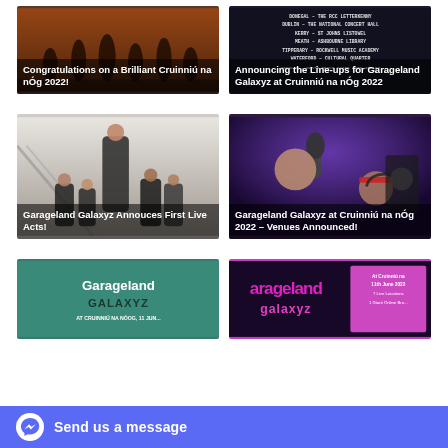[Figure (photo): Group of musicians on stage with orange/red lighting - Cruinniú na nÓg 2022 celebration]
Congratulations on a Brilliant Cruinniú na nÓg 2022!
[Figure (photo): Dark background with text listing venues for Garageland Galaxyz at Cruinniú na nÓg 2022]
Announcing the Line-ups for Garageland Galaxyz at Cruinniú na nÓg 2022
[Figure (photo): Band group photo on staircase in bright modern space, featuring a woman in patterned jacket at front]
Garageland Galaxyz Annouces First Live Acts!
[Figure (photo): Person speaking into microphone in purple-lit studio, with another person wearing red headband in background]
Garageland Galaxyz at Cruinniú na nÓg 2022 – Venues Announced!
[Figure (illustration): Garageland Galaxyz promotional poster with teal background and stylized text]
[Figure (illustration): Garageland Galaxyz event poster with pink/purple text on dark background, At Cruinniú na nÓg 11th June 2022]
Send us a message